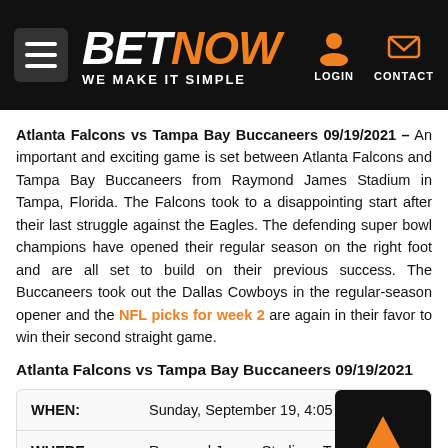BETNOW — WE MAKE IT SIMPLE
Atlanta Falcons vs Tampa Bay Buccaneers 09/19/2021 – An important and exciting game is set between Atlanta Falcons and Tampa Bay Buccaneers from Raymond James Stadium in Tampa, Florida. The Falcons took to a disappointing start after their last struggle against the Eagles. The defending super bowl champions have opened their regular season on the right foot and are all set to build on their previous success. The Buccaneers took out the Dallas Cowboys in the regular-season opener and the NFL picks for week 2 are again in their favor to win their second straight game.
Atlanta Falcons vs Tampa Bay Buccaneers 09/19/2021
|  |  |
| --- | --- |
| WHEN: | Sunday, September 19, 4:05 PM ET |
| WHERE: | Raymond James Stadium, Tampa |